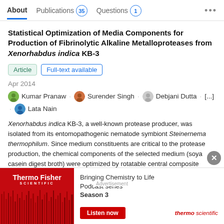About   Publications 35   Questions 1   ...
Statistical Optimization of Media Components for Production of Fibrinolytic Alkaline Metalloproteases from Xenorhabdus indica KB-3
Article   Full-text available
Apr 2014
Kumar Pranaw · Surender Singh · Debjani Dutta · [...] · Lata Nain
Xenorhabdus indica KB-3, a well-known protease producer, was isolated from its entomopathogenic nematode symbiont Steinernema thermophilum. Since medium constituents are critical to the protease production, the chemical components of the selected medium (soya casein digest broth) were optimized by rotatable central composite design (RCCD) using res
[Figure (advertisement): ThermoFisher Scientific advertisement - Bringing Chemistry to Life Podcast series Season 3, Listen now button]